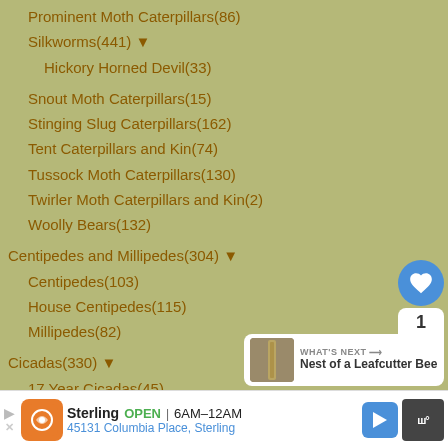Prominent Moth Caterpillars(86)
Silkworms(441) ▼
Hickory Horned Devil(33)
Snout Moth Caterpillars(15)
Stinging Slug Caterpillars(162)
Tent Caterpillars and Kin(74)
Tussock Moth Caterpillars(130)
Twirler Moth Caterpillars and Kin(2)
Woolly Bears(132)
Centipedes and Millipedes(304) ▼
Centipedes(103)
House Centipedes(115)
Millipedes(82)
Cicadas(330) ▼
17 Year Cicadas(45)
Cockroaches(190)
Coelenerates(1)
[Figure (screenshot): What's Next panel with thumbnail of Nest of a Leafcutter Bee]
[Figure (screenshot): Advertisement bar: Sterling restaurant, OPEN 6AM-12AM, 45131 Columbia Place Sterling]